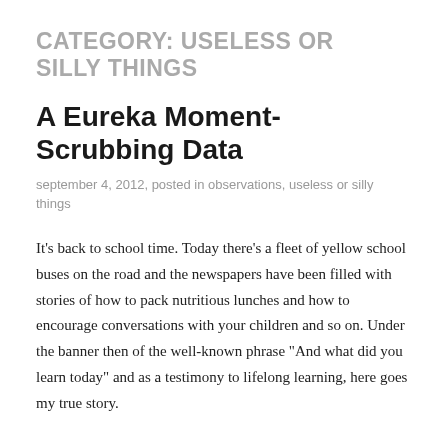CATEGORY: USELESS OR SILLY THINGS
A Eureka Moment- Scrubbing Data
september 4, 2012, posted in observations, useless or silly things
It's back to school time.  Today there's a fleet of yellow school buses on the road and the newspapers have been filled with stories of how to pack nutritious lunches and how to encourage conversations with your children and so on.  Under the banner then of the well-known phrase “And what did you learn today” and as a testimony to lifelong learning, here goes my true story.